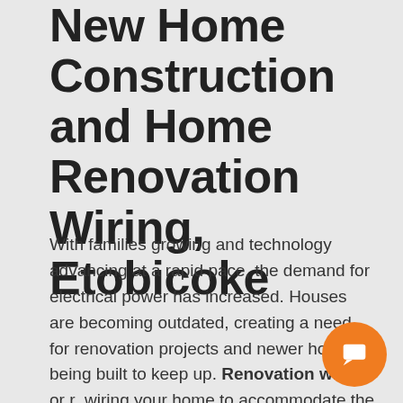New Home Construction and Home Renovation Wiring, Etobicoke
With families growing and technology advancing at a rapid pace, the demand for electrical power has increased. Houses are becoming outdated, creating a need for renovation projects and newer homes being built to keep up. Renovation wiring or rewiring your home to accommodate the ... not only boosts the value of your home, but can enhance your lifestyle and ensure that you